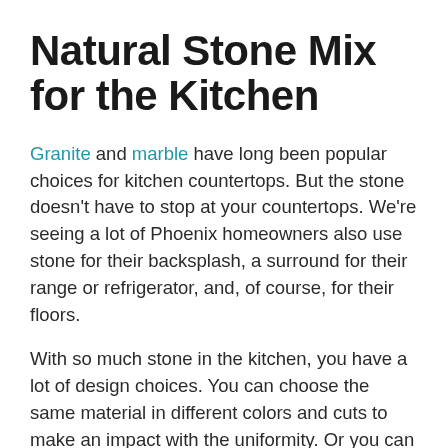Natural Stone Mix for the Kitchen
Granite and marble have long been popular choices for kitchen countertops. But the stone doesn't have to stop at your countertops. We're seeing a lot of Phoenix homeowners also use stone for their backsplash, a surround for their range or refrigerator, and, of course, for their floors.
With so much stone in the kitchen, you have a lot of design choices. You can choose the same material in different colors and cuts to make an impact with the uniformity. Or you can choose stones that complement one another to create a more natural look for the kitchen. You'll feel like you're in a rustic, woodland cabin – but a